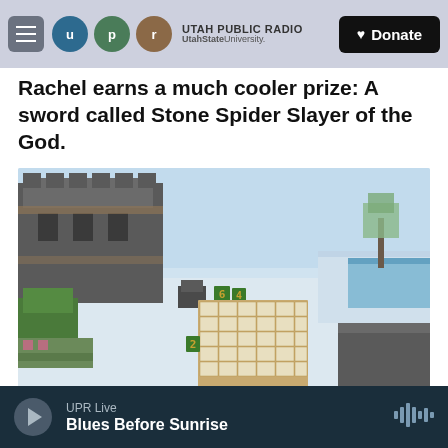UTAH PUBLIC RADIO / UtahState University — Donate
Rachel earns a much cooler prize: A sword called Stone Spider Slayer of the God.
[Figure (screenshot): Minecraft game screenshot showing a snow-covered landscape with a castle-like structure on the left, a grid of blocks arranged in a diamond/checkerboard pattern in the center with numbers visible, and other Minecraft structures in the background.]
/ Minecraft / Minecraft
UPR Live — Blues Before Sunrise